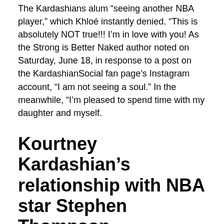The Kardashians alum “seeing another NBA player,” which Khloé instantly denied. “This is absolutely NOT true!!! I’m in love with you! As the Strong is Better Naked author noted on Saturday, June 18, in response to a post on the KardashianSocial fan page’s Instagram account, “I am not seeing a soul.” In the meanwhile, “I’m pleased to spend time with my daughter and myself.
Kourtney Kardashian’s relationship with NBA star Stephen Thompson
“ Kourtney Kardashian’s relationship with NBA star Stephen Thompson, 31, began in 2016. After being caught cheating with various women just before the birth of the